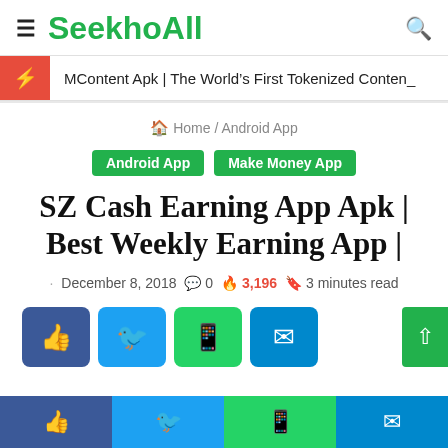SeekhoAll
MContent Apk | The World's First Tokenized Conten_
Home / Android App
Android App | Make Money App
SZ Cash Earning App Apk | Best Weekly Earning App |
December 8, 2018  0  3,196  3 minutes read